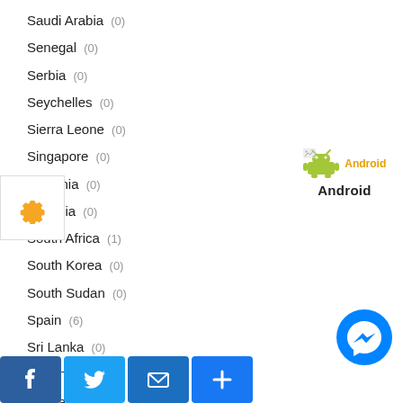Saudi Arabia (0)
Senegal (0)
Serbia (0)
Seychelles (0)
Sierra Leone (0)
Singapore (0)
Slovenia (0)
Somalia (0)
South Africa (1)
South Korea (0)
South Sudan (0)
Spain (6)
Sri Lanka (0)
Sudan (0)
Suriname (0)
[Figure (logo): Android logo with icon and bold text label]
[Figure (other): Facebook Messenger chat button (blue circle)]
[Figure (other): Social share bar with Facebook, Twitter, Email, and plus buttons]